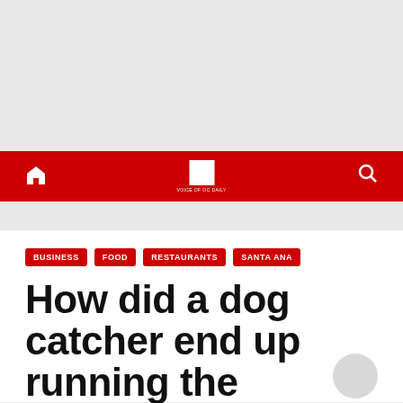[Figure (screenshot): Gray advertisement/banner placeholder area at top of page]
Navigation bar with home icon, site logo, and search icon on red background
BUSINESS   FOOD   RESTAURANTS   SANTA ANA
How did a dog catcher end up running the